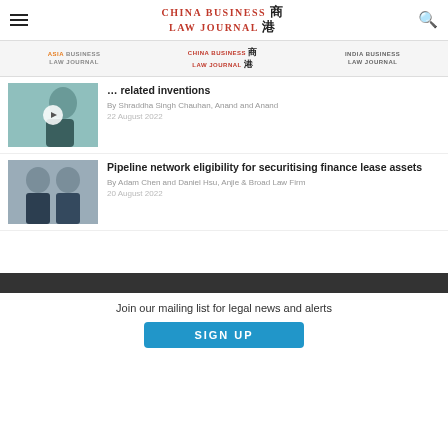CHINA BUSINESS LAW JOURNAL
ASIA BUSINESS LAW JOURNAL | CHINA BUSINESS LAW JOURNAL | INDIA BUSINESS LAW JOURNAL
Assessing inventiveness and ownership of AI-related inventions
By Shraddha Singh Chauhan, Anand and Anand
22 August 2022
Pipeline network eligibility for securitising finance lease assets
By Adam Chen and Daniel Hsu, Anjie & Broad Law Firm
20 August 2022
Join our mailing list for legal news and alerts
SIGN UP